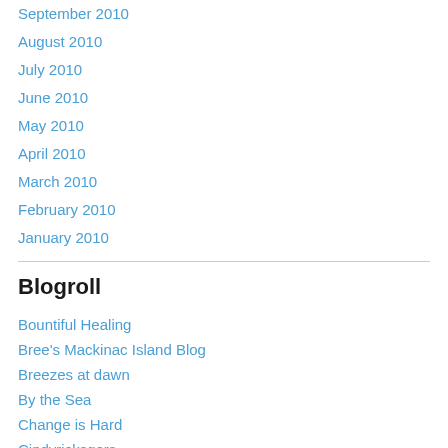September 2010
August 2010
July 2010
June 2010
May 2010
April 2010
March 2010
February 2010
January 2010
Blogroll
Bountiful Healing
Bree's Mackinac Island Blog
Breezes at dawn
By the Sea
Change is Hard
Cindyricksgers
Eastern Passage Passage